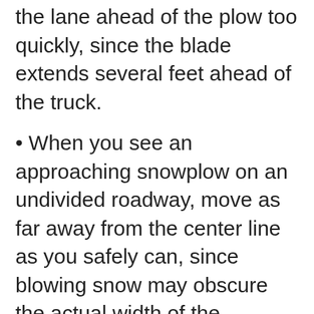the lane ahead of the plow too quickly, since the blade extends several feet ahead of the truck.
• When you see an approaching snowplow on an undivided roadway, move as far away from the center line as you safely can, since blowing snow may obscure the actual width of the snowplow's blade.
• Turn on your lights to see and be seen. Brush the snow off your headlights and taillights frequently.
• Winter driving requires motorists to be careful